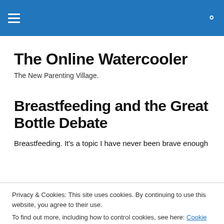The Online Watercooler — navigation bar with hamburger menu and search icon
The Online Watercooler
The New Parenting Village.
Breastfeeding and the Great Bottle Debate
Breastfeeding. It's a topic I have never been brave enough
Privacy & Cookies: This site uses cookies. By continuing to use this website, you agree to their use.
To find out more, including how to control cookies, see here: Cookie Policy
Close and accept